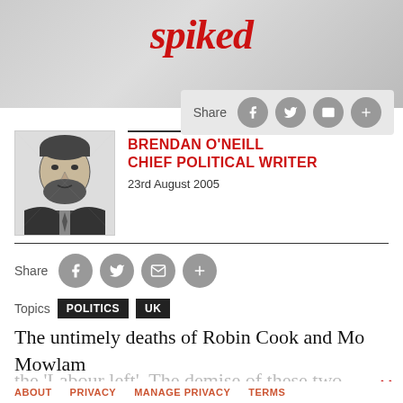spiked
[Figure (illustration): Black and white sketch portrait of Brendan O'Neill, a man with beard in suit]
BRENDAN O'NEILL
CHIEF POLITICAL WRITER
23rd August 2005
Share  Topics  POLITICS  UK
The untimely deaths of Robin Cook and Mo Mowlam in the space of two weeks were described as a blow to the 'Labour left'. The demise of these two former
ABOUT   PRIVACY   MANAGE PRIVACY   TERMS